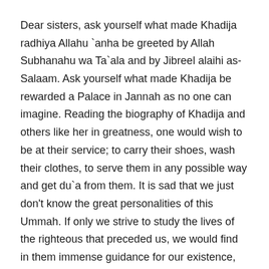Dear sisters, ask yourself what made Khadija radhiya Allahu `anha be greeted by Allah Subhanahu wa Ta`ala and by Jibreel alaihi as-Salaam. Ask yourself what made Khadija be rewarded a Palace in Jannah as no one can imagine. Reading the biography of Khadija and others like her in greatness, one would wish to be at their service; to carry their shoes, wash their clothes, to serve them in any possible way and get du`a from them. It is sad that we just don't know the great personalities of this Ummah. If only we strive to study the lives of the righteous that preceded us, we would find in them immense guidance for our existence, and if we know them and follow them we could be in the forefront of mankind …
It is said, 'Iman (faith) is not by hope, it is rather what occurs in the heart and is proved by the deeds [maa waqa`a fil qalbi wa saddaqahul-`amal].' We leave you to think about this and